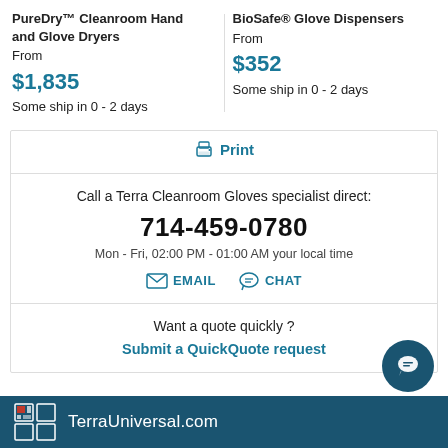PureDry™ Cleanroom Hand and Glove Dryers
From
$1,835
Some ship in 0 - 2 days
BioSafe® Glove Dispensers
From
$352
Some ship in 0 - 2 days
Print
Call a Terra Cleanroom Gloves specialist direct:
714-459-0780
Mon - Fri, 02:00 PM - 01:00 AM your local time
EMAIL  CHAT
Want a quote quickly ?
Submit a QuickQuote request
TerraUniversal.com